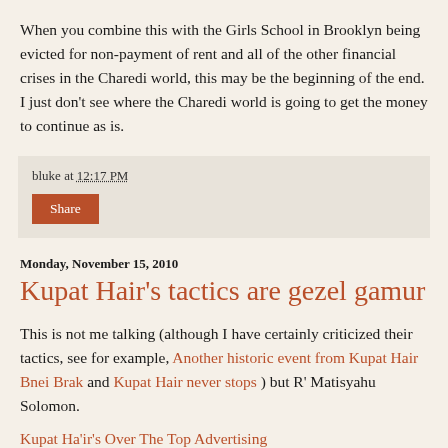When you combine this with the Girls School in Brooklyn being evicted for non-payment of rent and all of the other financial crises in the Charedi world, this may be the beginning of the end. I just don't see where the Charedi world is going to get the money to continue as is.
bluke at 12:17 PM
Share
Monday, November 15, 2010
Kupat Hair's tactics are gezel gamur
This is not me talking (although I have certainly criticized their tactics, see for example, Another historic event from Kupat Hair Bnei Brak and Kupat Hair never stops ) but R' Matisyahu Solomon.
Kupat Ha'ir's Over The Top Advertising